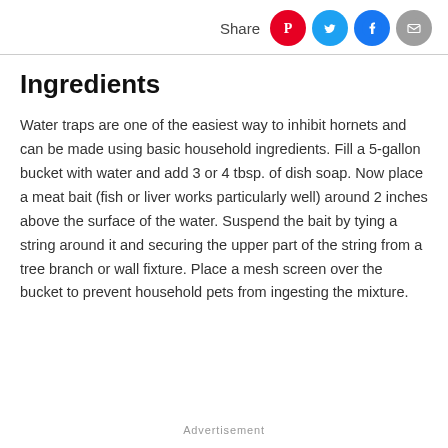Share
Ingredients
Water traps are one of the easiest way to inhibit hornets and can be made using basic household ingredients. Fill a 5-gallon bucket with water and add 3 or 4 tbsp. of dish soap. Now place a meat bait (fish or liver works particularly well) around 2 inches above the surface of the water. Suspend the bait by tying a string around it and securing the upper part of the string from a tree branch or wall fixture. Place a mesh screen over the bucket to prevent household pets from ingesting the mixture.
Advertisement